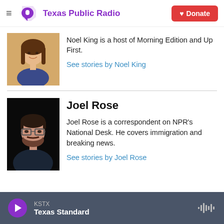Texas Public Radio | Donate
Noel King is a host of Morning Edition and Up First.
See stories by Noel King
Joel Rose
Joel Rose is a correspondent on NPR's National Desk. He covers immigration and breaking news.
See stories by Joel Rose
KSTX Texas Standard